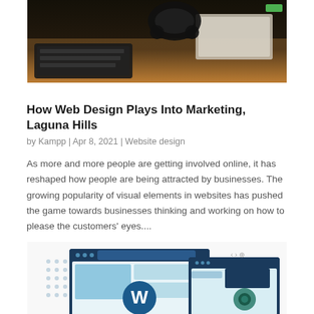[Figure (photo): Photo of a wooden desk with a dark keyboard, headphones, and papers/tablet in the background. A small green label is visible in the top right corner.]
How Web Design Plays Into Marketing, Laguna Hills
by Kampp | Apr 8, 2021 | Website design
As more and more people are getting involved online, it has reshaped how people are being attracted by businesses. The growing popularity of visual elements in websites has pushed the game towards businesses thinking and working on how to please the customers' eyes....
[Figure (illustration): WordPress website design illustration showing browser windows with WordPress logo and gear icons, representing web design and CMS layout.]